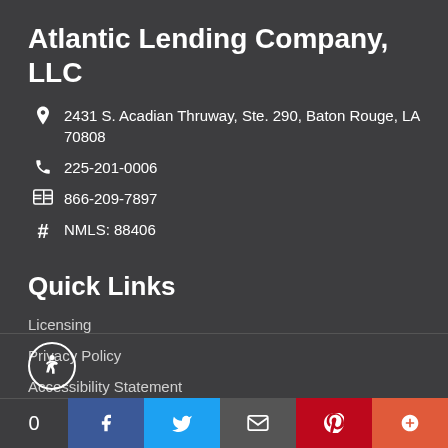Atlantic Lending Company, LLC
2431 S. Acadian Thruway, Ste. 290, Baton Rouge, LA 70808
225-201-0006
866-209-7897
NMLS: 88406
Quick Links
Licensing
Privacy Policy
Accessibility Statement